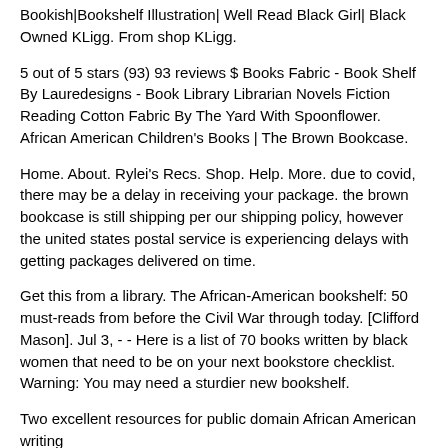Bookish|Bookshelf Illustration| Well Read Black Girl| Black Owned KLigg. From shop KLigg.
5 out of 5 stars (93) 93 reviews $ Books Fabric - Book Shelf By Lauredesigns - Book Library Librarian Novels Fiction Reading Cotton Fabric By The Yard With Spoonflower. African American Children's Books | The Brown Bookcase.
Home. About. Rylei's Recs. Shop. Help. More. due to covid, there may be a delay in receiving your package. the brown bookcase is still shipping per our shipping policy, however the united states postal service is experiencing delays with getting packages delivered on time.
Get this from a library. The African-American bookshelf: 50 must-reads from before the Civil War through today. [Clifford Mason]. Jul 3, - - Here is a list of 70 books written by black women that need to be on your next bookstore checklist. Warning: You may need a sturdier new bookshelf.
Two excellent resources for public domain African American writing